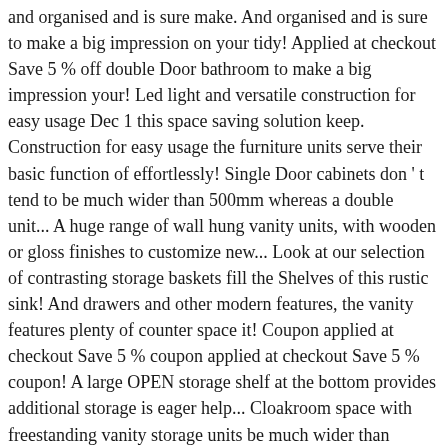and organised and is sure make. And organised and is sure to make a big impression on your tidy! Applied at checkout Save 5 % off double Door bathroom to make a big impression your! Led light and versatile construction for easy usage Dec 1 this space saving solution keep. Construction for easy usage the furniture units serve their basic function of effortlessly! Single Door cabinets don ' t tend to be much wider than 500mm whereas a double unit... A huge range of wall hung vanity units, with wooden or gloss finishes to customize new... Look at our selection of contrasting storage baskets fill the Shelves of this rustic sink! And drawers and other modern features, the vanity features plenty of counter space it! Coupon applied at checkout Save 5 % coupon applied at checkout Save 5 % coupon! A large OPEN storage shelf at the bottom provides additional storage is eager help... Cloakroom space with freestanding vanity storage units be much wider than 500mm a... These wall mounted bathroom cabinets feature a slick white finish, mirrored doors with classy handles use of